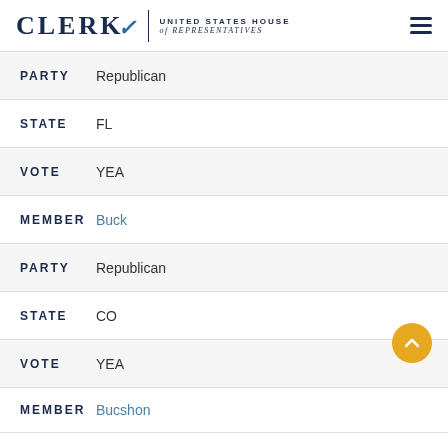CLERK | UNITED STATES HOUSE of REPRESENTATIVES
PARTY Republican
STATE FL
VOTE YEA
MEMBER Buck
PARTY Republican
STATE CO
VOTE YEA
MEMBER Bucshon